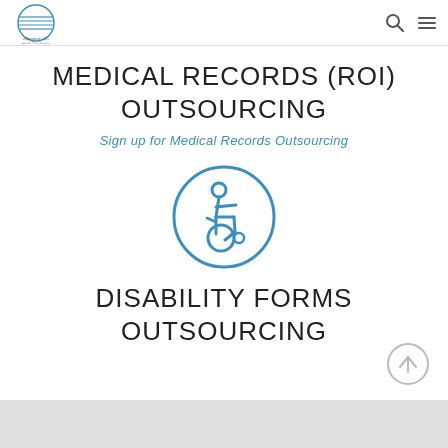[Figure (logo): eRequest LLC logo with horizontal lines and a globe icon]
MEDICAL RECORDS (ROI) OUTSOURCING
Sign up for Medical Records Outsourcing
[Figure (illustration): Wheelchair accessibility icon inside a circle, drawn in blue outline style]
DISABILITY FORMS OUTSOURCING